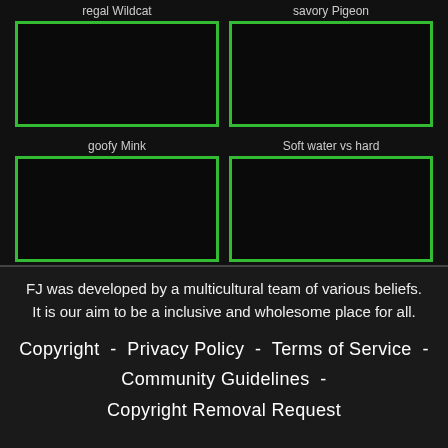regal Wildcat
[Figure (other): Black box with green border labeled regal Wildcat]
savory Pigeon
[Figure (other): Black box with green border labeled savory Pigeon]
goofy Mink
[Figure (other): Black box with green border labeled goofy Mink]
Soft water vs hard
[Figure (other): Black box with green border labeled Soft water vs hard]
FJ was developed by a multicultural team of various beliefs. It is our aim to be a inclusive and wholesome place for all.
Copyright  -  Privacy Policy  -  Terms of Service  -  Community Guidelines  -  Copyright Removal Request